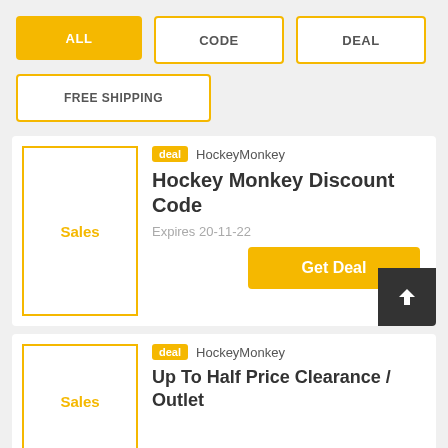ALL
CODE
DEAL
FREE SHIPPING
deal HockeyMonkey
Hockey Monkey Discount Code
Expires 20-11-22
Get Deal
deal HockeyMonkey
Up To Half Price Clearance / Outlet